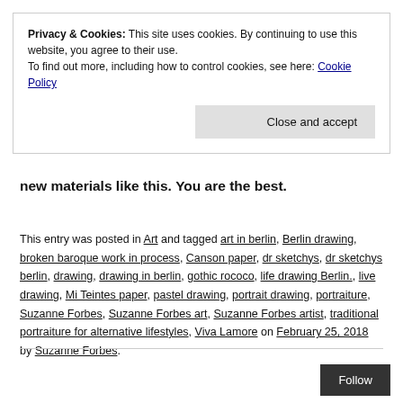Privacy & Cookies: This site uses cookies. By continuing to use this website, you agree to their use.
To find out more, including how to control cookies, see here: Cookie Policy
Close and accept
new materials like this. You are the best.
This entry was posted in Art and tagged art in berlin, Berlin drawing, broken baroque work in process, Canson paper, dr sketchys, dr sketchys berlin, drawing, drawing in berlin, gothic rococo, life drawing Berlin., live drawing, Mi Teintes paper, pastel drawing, portrait drawing, portraiture, Suzanne Forbes, Suzanne Forbes art, Suzanne Forbes artist, traditional portraiture for alternative lifestyles, Viva Lamore on February 25, 2018 by Suzanne Forbes.